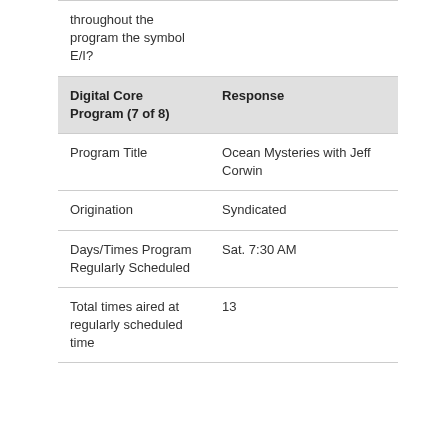| Digital Core Program (7 of 8) | Response |
| --- | --- |
| Program Title | Ocean Mysteries with Jeff Corwin |
| Origination | Syndicated |
| Days/Times Program Regularly Scheduled | Sat. 7:30 AM |
| Total times aired at regularly scheduled time | 13 |